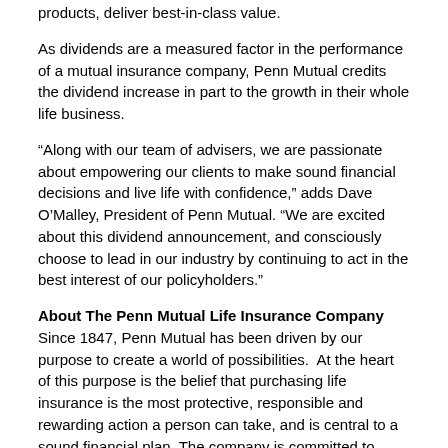products, deliver best-in-class value.
As dividends are a measured factor in the performance of a mutual insurance company, Penn Mutual credits the dividend increase in part to the growth in their whole life business.
“Along with our team of advisers, we are passionate about empowering our clients to make sound financial decisions and live life with confidence,” adds Dave O’Malley, President of Penn Mutual. “We are excited about this dividend announcement, and consciously choose to lead in our industry by continuing to act in the best interest of our policyholders.”
About The Penn Mutual Life Insurance Company
Since 1847, Penn Mutual has been driven by our purpose to create a world of possibilities.  At the heart of this purpose is the belief that purchasing life insurance is the most protective, responsible and rewarding action a person can take, and is central to a sound financial plan. The company is committed to helping families unlock life’s possibilities through life insurance and annuity solutions. This is accomplished through a national network of financial professionals, who help clients make great things possible. Penn Mutual